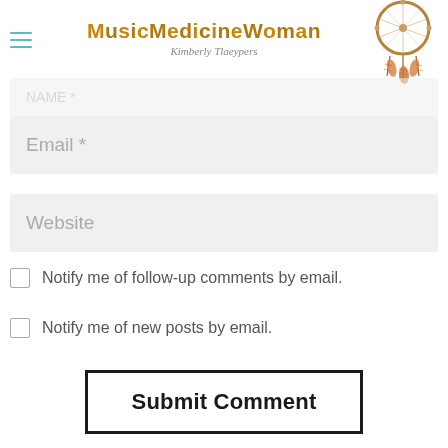MusicMedicineWoman — Kimberly Tlaeypers
[Figure (illustration): Decorative dreamcatcher illustration with feathers in brown/tan tones]
Email *
Website
Notify me of follow-up comments by email.
Notify me of new posts by email.
Submit Comment